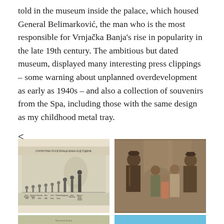told in the museum inside the palace, which housed General Belimarković, the man who is the most responsible for Vrnjačka Banja's rise in popularity in the late 19th century. The ambitious but dated museum, displayed many interesting press clippings – some warning about unplanned overdevelopment as early as 1940s – and also a collection of souvenirs from the Spa, including those with the same design as my childhood metal tray.
[Figure (photo): Historical statistical chart with Cyrillic text header showing visitor statistics of a spa, with bar-like human figure illustrations arranged by year]
[Figure (photo): Sepia vintage photograph of a group of people including two men in military/official uniforms and women and children, posed in front of a building]
[Figure (photo): Partially visible image at bottom left, appears to be a landscape or outdoor scene]
[Figure (photo): Partially visible image at bottom right, appears to show blue sky and possibly a building or landscape]